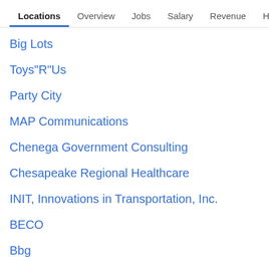Locations  Overview  Jobs  Salary  Revenue  Histo >
Big Lots
Toys"R"Us
Party City
MAP Communications
Chenega Government Consulting
Chesapeake Regional Healthcare
INIT, Innovations in Transportation, Inc.
BECO
Bbg
Goldbelt Falcon